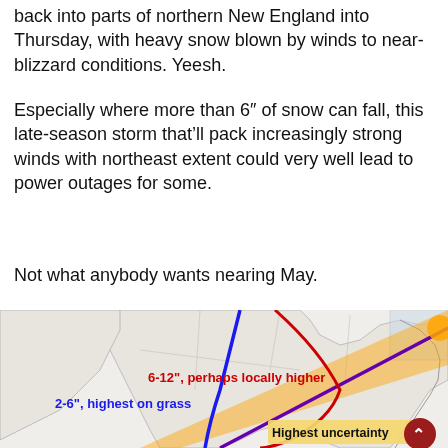back into parts of northern New England into Thursday, with heavy snow blown by winds to near-blizzard conditions. Yeesh.
Especially where more than 6" of snow can fall, this late-season storm that’ll pack increasingly strong winds with northeast extent could very well lead to power outages for some.
Not what anybody wants nearing May.
[Figure (map): Weather map of northeastern United States showing storm track with a blue line, red curved line, and orange/purple band indicating storm path. Red text labels '6-12", perhaps locally higher' and blue text '2-6", highest on grass'. A label 'Highest uncertainty' appears at lower right.]